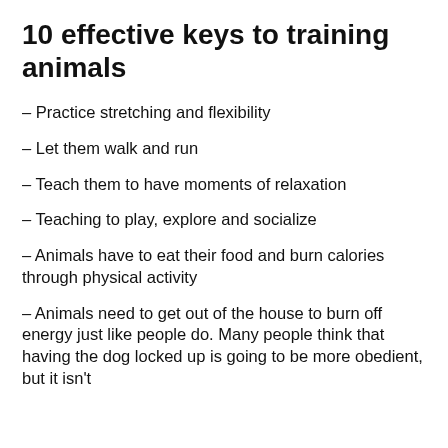10 effective keys to training animals
– Practice stretching and flexibility
– Let them walk and run
– Teach them to have moments of relaxation
– Teaching to play, explore and socialize
– Animals have to eat their food and burn calories through physical activity
– Animals need to get out of the house to burn off energy just like people do. Many people think that having the dog locked up is going to be more obedient, but it isn't